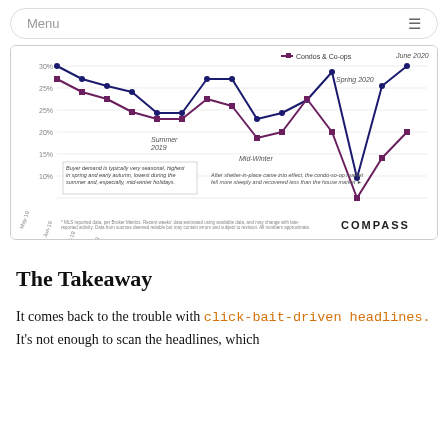Menu
[Figure (line-chart): Condos & Co-ops]
The Takeaway
It comes back to the trouble with click-bait-driven headlines. It's not enough to scan the headlines, which